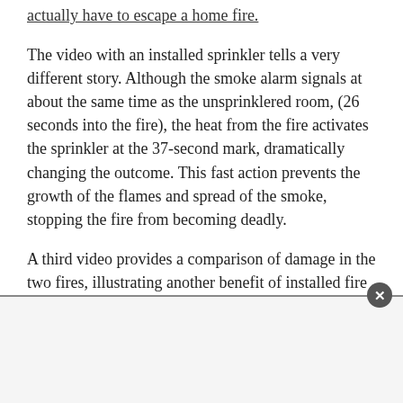actually have to escape a home fire.
The video with an installed sprinkler tells a very different story. Although the smoke alarm signals at about the same time as the unsprinklered room, (26 seconds into the fire), the heat from the fire activates the sprinkler at the 37-second mark, dramatically changing the outcome. This fast action prevents the growth of the flames and spread of the smoke, stopping the fire from becoming deadly.
A third video provides a comparison of damage in the two fires, illustrating another benefit of installed fire sprinklers: property protection.
There are many myths and misconceptions about home fire sprinklers. Here are the most common misbeliefs and the facts from the experts at HFSC.
Myth: Smoke activates a home fire sprinkler